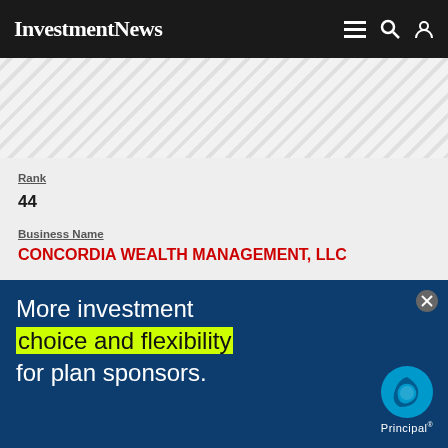InvestmentNews
[Figure (other): Diagonal striped gray pattern area (decorative background)]
Rank
44
Business Name
CONCORDIA WEALTH MANAGEMENT, LLC
Avg. account AUM
$1,596,313
Discretionary AUM
$171,388,213
Non-discretionary AUM
[Figure (other): Advertisement banner for Principal financial group — blue background with text: 'More investment choice and flexibility for plan sponsors.' with 'choice and flexibility' highlighted in yellow-green. Principal logo in bottom right corner.]